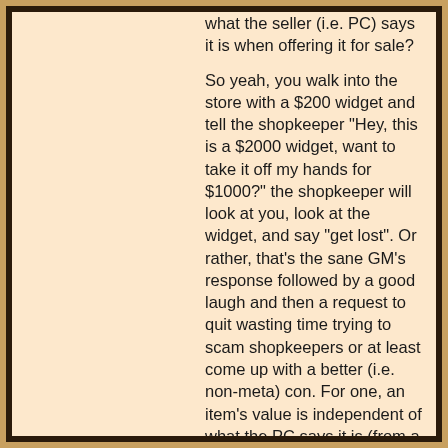what the seller (i.e. PC) says it is when offering it for sale?

So yeah, you walk into the store with a $200 widget and tell the shopkeeper "Hey, this is a $2000 widget, want to take it off my hands for $1000?" the shopkeeper will look at you, look at the widget, and say "get lost". Or rather, that's the sane GM's response followed by a good laugh and then a request to quit wasting time trying to scam shopkeepers or at least come up with a better (i.e. non-meta) con. For one, an item's value is independent of what the PC says it is (from a metagame standpoint) and a given shopkeeper would probably have an (in game) idea of what a widget is worth which ought to disarm the truly outlandish propositions.
Then, if you have a superb reaction roll then he'll give you a great deal relative to